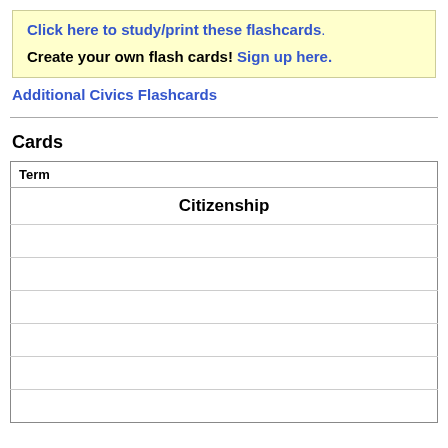Click here to study/print these flashcards. Create your own flash cards! Sign up here.
Additional Civics Flashcards
Cards
| Term |
| --- |
| Citizenship |
|  |
|  |
|  |
|  |
|  |
|  |